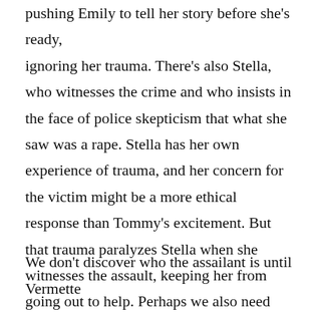midway in his pursuit of the killer. But he risks pushing Emily to tell her story before she's ready, ignoring her trauma. There's also Stella, who witnesses the crime and who insists in the face of police skepticism that what she saw was a rape. Stella has her own experience of trauma, and her concern for the victim might be a more ethical response than Tommy's excitement. But that trauma paralyzes Stella when she witnesses the assault, keeping her from going out to help. Perhaps we also need Tommy's push for answers to keep the story from being stuck in pain and trauma.
We don't discover who the assailant is until Vermette